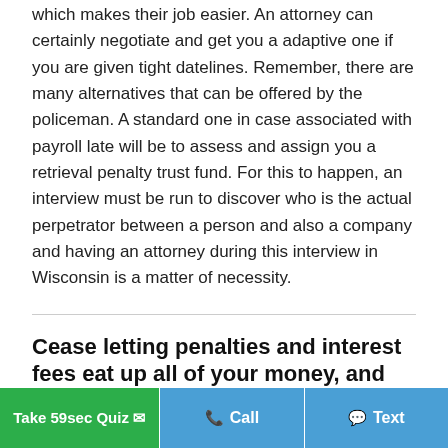which makes their job easier. An attorney can certainly negotiate and get you a adaptive one if you are given tight datelines. Remember, there are many alternatives that can be offered by the policeman. A standard one in case associated with payroll late will be to assess and assign you a retrieval penalty trust fund. For this to happen, an interview must be run to discover who is the actual perpetrator between a person and also a company and having an attorney during this interview in Wisconsin is a matter of necessity.
Cease letting penalties and interest fees eat up all of your money, and let our Wisconsin penalty abatement system help.
Once the IRS hit on you or your company using a tax bill, it
Take 59sec Quiz | Call | Text